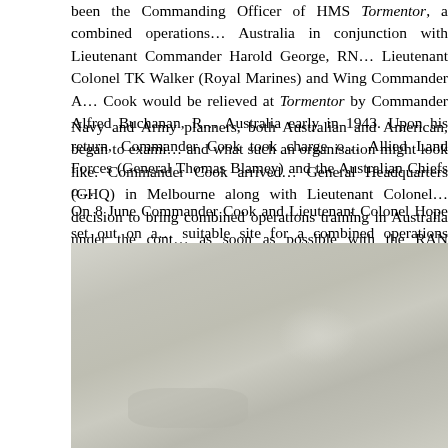been the Commanding Officer of HMS Tormentor, a combined operations... Australia in conjunction with Lieutenant Commander Harold George, RN... Lieutenant Colonel TK Walker (Royal Marines) and Wing Commander A... Cook would be relieved at Tormentor by Commander Alfred Buchanan, R... Australia early in 1943. Upon his return, Commander Cook took charge o... Allied Land Forces (General Thomas Blamey) and the Australian Chiefs o...
Navy and Army planners, both Australian and American, began to exami... and what such an organisation might look like. Commander Cook arrived... General Headquarters (GHQ) in Melbourne along with Lieutenant Colonel... decision to bring combined operations training in Australia under the cont... as soon as possible with the RAN producing one third of the total number...
On 8 June Commander Cook and Lieutenant Colonel Hope set out on a... suitable site for a combined operations training centre. They subsequent... north of Newcastle in New South Wales, as the most suitable site for a tr... threat at that time.
[Figure (photo): A faded, grey-toned historical photograph showing what appears to be a coastal or waterfront scene, with a hazy, overcast sky and muted grey-green tones throughout.]